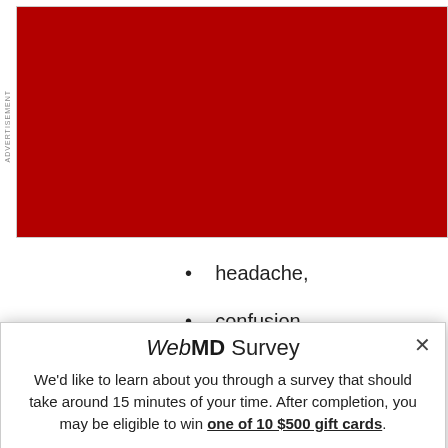[Figure (other): Red advertisement banner placeholder]
headache,
confusion,
slurred speech,
WebMD Survey
We'd like to learn about you through a survey that should take around 15 minutes of your time. After completion, you may be eligible to win one of 10 $500 gift cards.
Take the Survey
No Thanks
This survey is being conducted by the WebMD Marketing Research department. All information will be used in a manner consistent with the WebMD privacy policy. NO PURCHASE OR SURVEY NECESSARY TO ENTER OR WIN. A purchase or survey will not increase your chances of winning. Open to legal residents of the fifty (50) United States, and the District of Columbia (DC) who are age 18 or older, and to whom this offer is addressed. Sweepstakes starts at 12:00:01 AM ET on 1/24/22 and ends at 11:59:59 PM ET on 12/31/22. See Official Rules for complete details and alternate method of entry. Void where prohibited. SPONSOR: WebMD LLC.